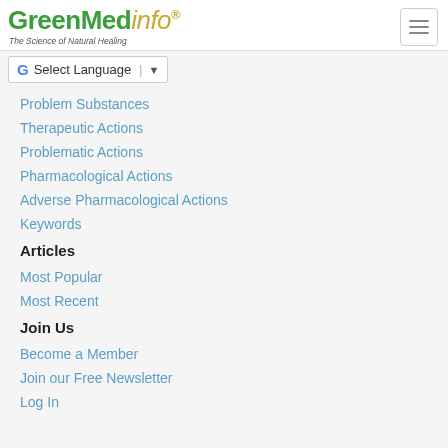GreenMedInfo® — The Science of Natural Healing
Select Language
Problem Substances
Therapeutic Actions
Problematic Actions
Pharmacological Actions
Adverse Pharmacological Actions
Keywords
Articles
Most Popular
Most Recent
Join Us
Become a Member
Join our Free Newsletter
Log In